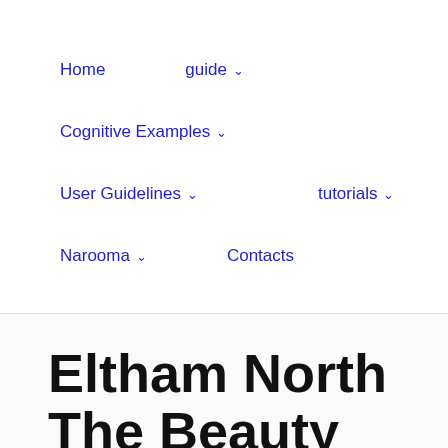Home   guide ⌄   Cognitive Examples ⌄   User Guidelines ⌄   tutorials ⌄   Narooma ⌄   Contacts
Eltham North The Beauty